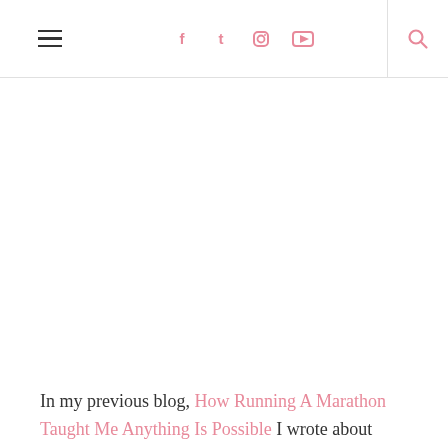≡  f  t  ◻  ▶  🔍
In my previous blog, How Running A Marathon Taught Me Anything Is Possible I wrote about achieving my goal of running a marathon before I was 55 years old. This article outlines the steps I took to achieve